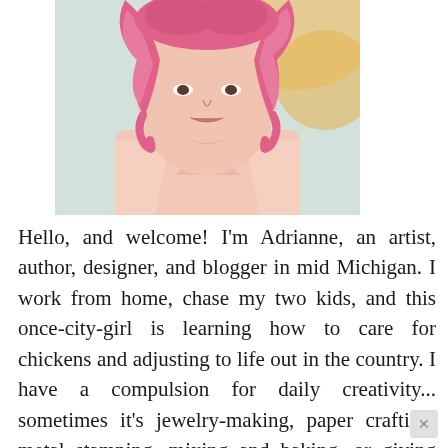[Figure (photo): Close-up photo of a woman with pink curly hair wearing a light pink top, cropped at the neck/chest area. Background shows a blurred colorful painting.]
Hello, and welcome! I'm Adrianne, an artist, author, designer, and blogger in mid Michigan. I work from home, chase my two kids, and this once-city-girl is learning how to care for chickens and adjusting to life out in the country. I have a compulsion for daily creativity... sometimes it's jewelry-making, paper crafting, metal stamping, mixing and baking, or giving new